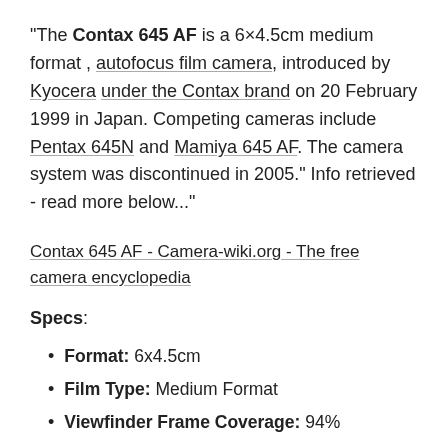"The Contax 645 AF is a 6×4.5cm medium format, autofocus film camera, introduced by Kyocera under the Contax brand on 20 February 1999 in Japan. Competing cameras include Pentax 645N and Mamiya 645 AF. The camera system was discontinued in 2005." Info retrieved - read more below..."
Contax 645 AF - Camera-wiki.org - The free camera encyclopedia
Specs:
Format: 6x4.5cm
Film Type: Medium Format
Viewfinder Frame Coverage: 94%